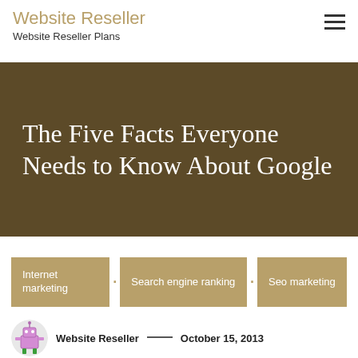Website Reseller
Website Reseller Plans
The Five Facts Everyone Needs to Know About Google
Internet marketing
Search engine ranking
Seo marketing
Website Reseller — October 15, 2013